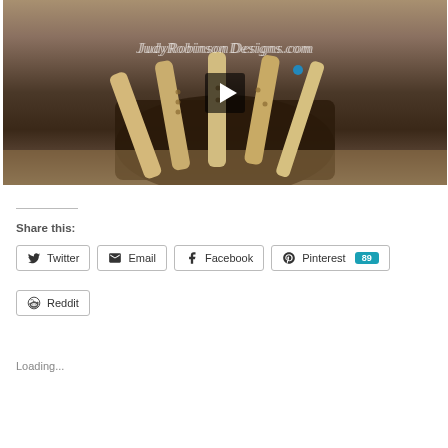[Figure (screenshot): Video thumbnail showing bamboo flutes resting on a dark wood stump with watermark text 'JudyRobinsonDesigns.com' and a play button in the center]
Share this:
Twitter
Email
Facebook
Pinterest 89
Reddit
Loading...